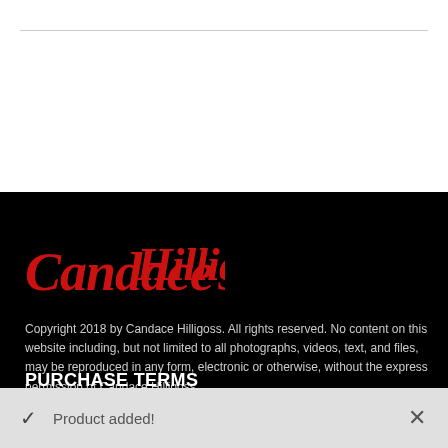[Figure (illustration): Cursive/script signature reading 'Candace Hilligoss' in red on black background]
Copyright 2018 by Candace Hilligoss. All rights reserved. No content on this website including, but not limited to all photographs, videos, text, and files, may be reproduced in any form, electronic or otherwise, without the express permission of Candace Hilligoss.
PURCHASE TERMS
The purchase of products provided...
Product added!